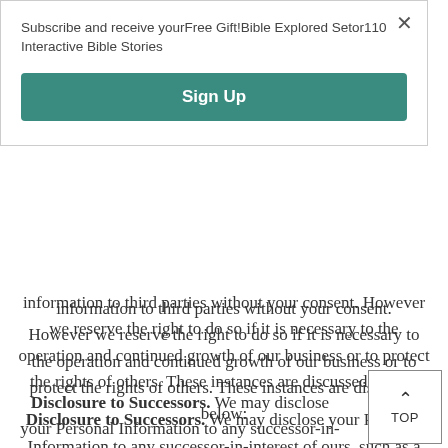Subscribe and receive yourFree Gift!Bible Explored Setor110 Interactive Bible Stories
Sign Up
information to third parties without your consent. However we reserve the right to do so if it is necessary to the operation and continued growth of our business or to protect the rights of others. These instances are discussed below:
Disclosure to Successors. We may disclose your Personal Information to any successor-in-interest of ours, such as a company that acquires us. In the event BiblesCanada goes through a business transition, such as a merger or acquisition by another company, or sale of all or a part of its assets, your personally identifiable information will
TOP